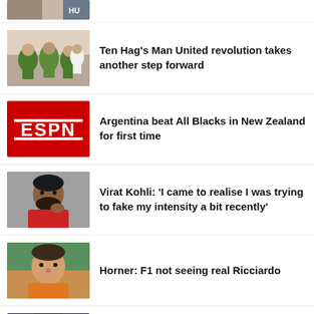[Figure (photo): Partial sports photo at top, cropped, showing faces and jersey with HU text]
[Figure (photo): Soccer players in green jerseys celebrating]
Ten Hag's Man United revolution takes another step forward
[Figure (logo): ESPN red logo on red background]
Argentina beat All Blacks in New Zealand for first time
[Figure (photo): Virat Kohli in thoughtful pose with hand near mouth]
Virat Kohli: 'I came to realise I was trying to fake my intensity a bit recently'
[Figure (photo): F1 racing driver portrait in orange helmet]
Horner: F1 not seeing real Ricciardo
[Figure (photo): Fernando Tatis Jr. partial photo showing face and branded text gr and ea]
Adidas terminates Tatis partnership over PED ban